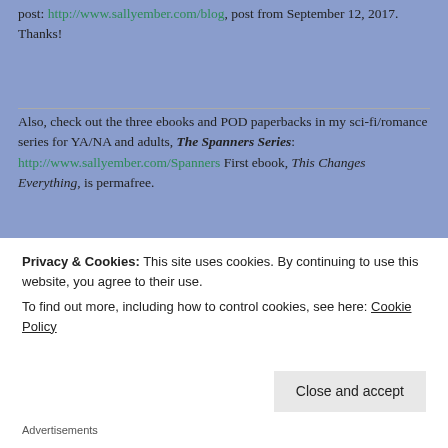post: http://www.sallyember.com/blog, post from September 12, 2017. Thanks!
Also, check out the three ebooks and POD paperbacks in my sci-fi/romance series for YA/NA and adults, The Spanners Series: http://www.sallyember.com/Spanners First ebook, This Changes Everything, is permafree.
[Figure (photo): Three paperback books displayed side by side showing titles: This Changes Everything, This Changes My Family and My Life Forever, and This Is/Is Not The Way I Want Things to Change]
Privacy & Cookies: This site uses cookies. By continuing to use this website, you agree to their use.
To find out more, including how to control cookies, see here: Cookie Policy
Close and accept
Advertisements